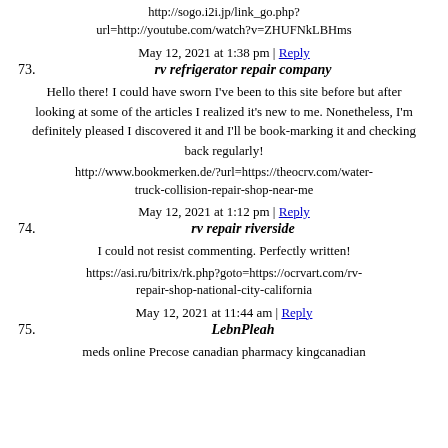http://sogo.i2i.jp/link_go.php?url=http://youtube.com/watch?v=ZHUFNkLBHms
May 12, 2021 at 1:38 pm | Reply
73. rv refrigerator repair company
Hello there! I could have sworn I've been to this site before but after looking at some of the articles I realized it's new to me. Nonetheless, I'm definitely pleased I discovered it and I'll be book-marking it and checking back regularly!
http://www.bookmerken.de/?url=https://theocrv.com/water-truck-collision-repair-shop-near-me
May 12, 2021 at 1:12 pm | Reply
74. rv repair riverside
I could not resist commenting. Perfectly written!
https://asi.ru/bitrix/rk.php?goto=https://ocrvart.com/rv-repair-shop-national-city-california
May 12, 2021 at 11:44 am | Reply
75. LebnPleah
meds online Precose canadian pharmacy kingcanadian